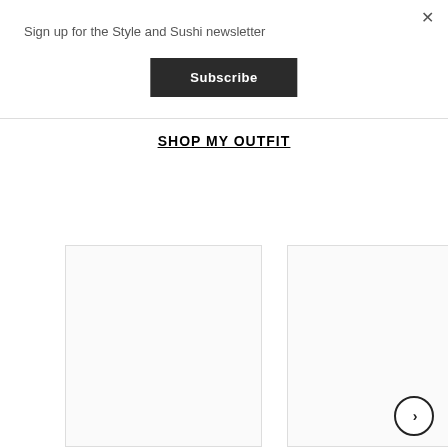×
Sign up for the Style and Sushi newsletter
Subscribe
SHOP MY OUTFIT
[Figure (other): Two empty white product image card placeholders side by side]
›